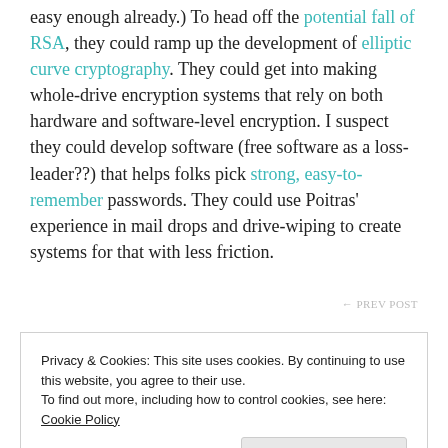easy enough already.) To head off the potential fall of RSA, they could ramp up the development of elliptic curve cryptography. They could get into making whole-drive encryption systems that rely on both hardware and software-level encryption. I suspect they could develop software (free software as a loss-leader??) that helps folks pick strong, easy-to-remember passwords. They could use Poitras' experience in mail drops and drive-wiping to create systems for that with less friction.
Privacy & Cookies: This site uses cookies. By continuing to use this website, you agree to their use.
To find out more, including how to control cookies, see here: Cookie Policy
Close and accept